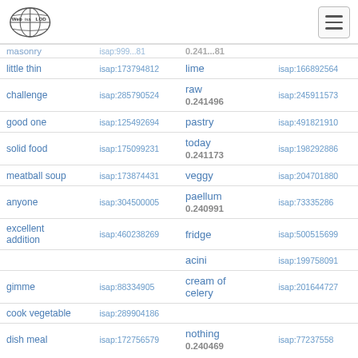Web isa LOD (logo) with hamburger menu
| term | isap id | term | isap id |
| --- | --- | --- | --- |
| masonry | isap:... | 0.241... |  |
| little thin | isap:173794812 | lime | isap:166892564 |
| challenge | isap:285790524 | raw
0.241496 | isap:245911573 |
| good one | isap:125492694 | pastry | isap:491821910 |
| solid food | isap:175099231 | today
0.241173 | isap:198292886 |
| meatball soup | isap:173874431 | veggy | isap:204701880 |
| anyone | isap:304500005 | paellum
0.240991 | isap:73335286 |
| excellent addition | isap:460238269 | fridge | isap:500515699 |
|  |  | acini | isap:199758091 |
| gimme | isap:88334905 | cream of celery | isap:201644727 |
| cook vegetable | isap:289904186 |  |  |
| dish meal | isap:172756579 | nothing
0.240469 | isap:77237558 |